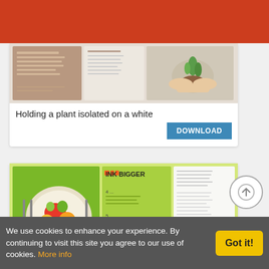Navigation bar with hamburger menu and cart icon
[Figure (screenshot): Brochure thumbnail showing a plant being held on a white background, trifold brown/beige design]
Holding a plant isolated on a white
DOWNLOAD
[Figure (screenshot): Diet and nutrition brochure thumbnail with green trifold design, fruits on a plate, tips to launch section]
Diet an
We use cookies to enhance your experience. By continuing to visit this site you agree to our use of cookies. More info
Got it!